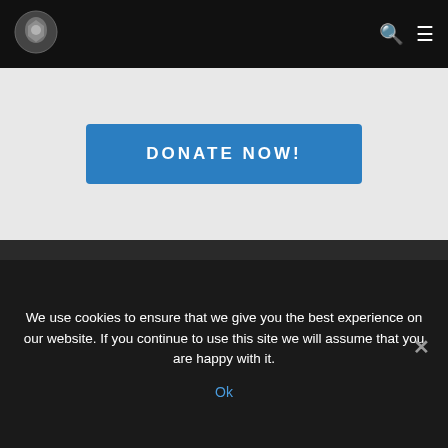[Figure (logo): Circular logo icon of Cornfed Derby Dames in top left navbar]
DONATE NOW!
About
The Cornfed Derby Dames (CFDD) are Muncie's premiere flat track roller derby league! Founded in 2010, the CFDD hope to bring together and empower people of
We use cookies to ensure that we give you the best experience on our website. If you continue to use this site we will assume that you are happy with it.
Ok